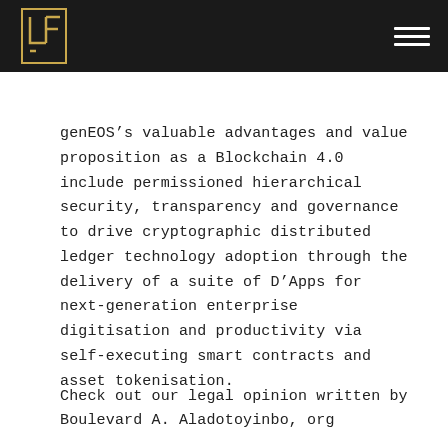LF logo and hamburger menu
genEOS’s valuable advantages and value proposition as a Blockchain 4.0 include permissioned hierarchical security, transparency and governance to drive cryptographic distributed ledger technology adoption through the delivery of a suite of D’Apps for next-generation enterprise digitisation and productivity via self-executing smart contracts and asset tokenisation.
Check out our legal opinion written by Boulevard A. Aladotoyinbo, org